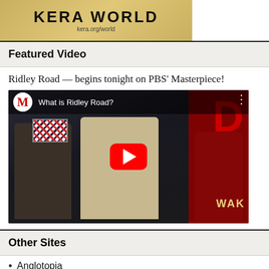[Figure (logo): KERA World banner logo with kera.org/world URL]
Featured Video
Ridley Road — begins tonight on PBS' Masterpiece!
[Figure (screenshot): YouTube video thumbnail for 'What is Ridley Road?' showing actors in period costume with a Union Jack flag and red banner in background. YouTube play button overlay with Masterpiece M logo.]
Other Sites
Anglotopia